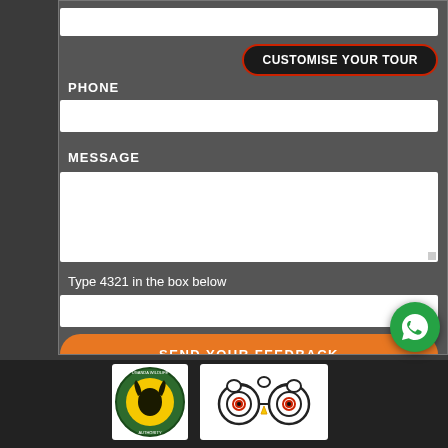[Figure (screenshot): Mobile website form with fields for Phone and Message, a captcha field, a 'CUSTOMISE YOUR TOUR' button, and a 'SEND YOUR FEEDBACK' orange submit button. Bottom section shows Uganda Wildlife Authority logo, TripAdvisor owl logo, and a WhatsApp floating button.]
PHONE
MESSAGE
Type 4321 in the box below
CUSTOMISE YOUR TOUR
SEND YOUR FEEDBACK